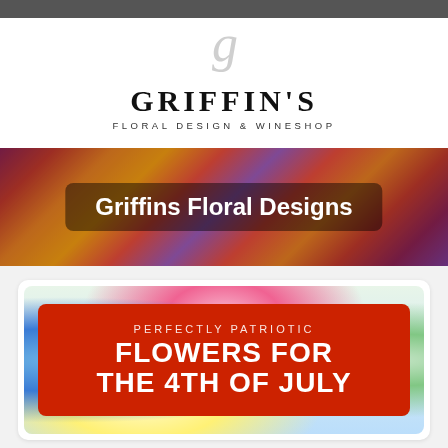[Figure (logo): Griffin's Floral Design & Wineshop logo with stylized G in script behind bold serif text]
[Figure (photo): Hero banner with colorful floral background and overlay text box reading 'Griffins Floral Designs']
[Figure (illustration): Promotional banner card with flower background and red box reading 'PERFECTLY PATRIOTIC FLOWERS FOR THE 4TH OF JULY']
COMMEMORATE THE FOURTH OF JULY WITH SYMBOLIC